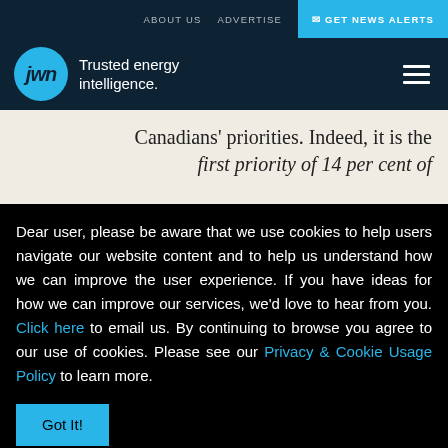ABOUT US   ADVERTISE   GET NEWS ALERTS
[Figure (logo): JWN logo with circular cyan badge and text 'Trusted energy intelligence.']
Canadians' priorities. Indeed, it is the first priority of 14 per cent of
Dear user, please be aware that we use cookies to help users navigate our website content and to help us understand how we can improve the user experience. If you have ideas for how we can improve our services, we'd love to hear from you. Click here to email us. By continuing to browse you agree to our use of cookies. Please see our Privacy & Cookie Usage Policy to learn more.
Got It!